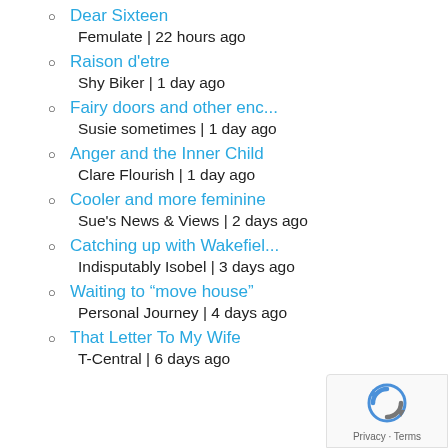Dear Sixteen
Femulate | 22 hours ago
Raison d'etre
Shy Biker | 1 day ago
Fairy doors and other enc...
Susie sometimes | 1 day ago
Anger and the Inner Child
Clare Flourish | 1 day ago
Cooler and more feminine
Sue's News & Views | 2 days ago
Catching up with Wakefiel...
Indisputably Isobel | 3 days ago
Waiting to “move house”
Personal Journey | 4 days ago
That Letter To My Wife
T-Central | 6 days ago
[Figure (logo): reCAPTCHA privacy badge with logo and Privacy - Terms text]